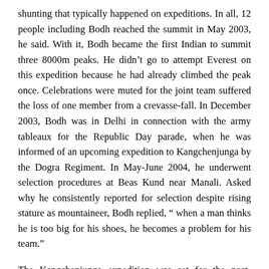shunting that typically happened on expeditions. In all, 12 people including Bodh reached the summit in May 2003, he said. With it, Bodh became the first Indian to summit three 8000m peaks. He didn't go to attempt Everest on this expedition because he had already climbed the peak once. Celebrations were muted for the joint team suffered the loss of one member from a crevasse-fall. In December 2003, Bodh was in Delhi in connection with the army tableaux for the Republic Day parade, when he was informed of an upcoming expedition to Kangchenjunga by the Dogra Regiment. In May-June 2004, he underwent selection procedures at Beas Kund near Manali. Asked why he consistently reported for selection despite rising stature as mountaineer, Bodh replied, “ when a man thinks he is too big for his shoes, he becomes a problem for his team.”
The Kangchenjunga expedition was set for the post-monsoon phase, a cold period. The ascent of the 8586m-high peak happened in cold conditions. At 10AM on October 10, 2004,